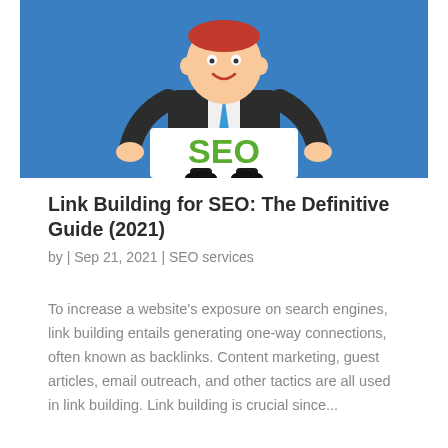[Figure (illustration): Cartoon businessman in a dark suit holding a white sign with the word 'SEO' in large green letters, against a blue background.]
Link Building for SEO: The Definitive Guide (2021)
by | Sep 21, 2021 | SEO services
To increase a website's exposure on search engines, link building entails generating one-way connections, often known as backlinks. Content marketing, guest articles, email outreach, and other tactics are all used in link building. Link building is crucial since...